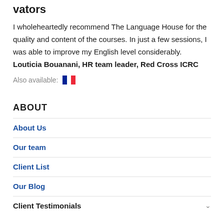vators
I wholeheartedly recommend The Language House for the quality and content of the courses. In just a few sessions, I was able to improve my English level considerably.
Louticia Bouanani, HR team leader, Red Cross ICRC
Also available: [French flag]
ABOUT
About Us
Our team
Client List
Our Blog
Client Testimonials